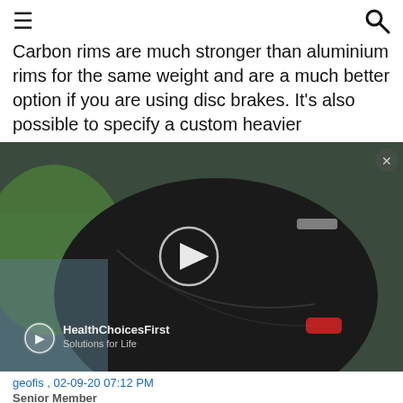≡  🔍
Carbon rims are much stronger than aluminium rims for the same weight and are a much better option if you are using disc brakes. It's also possible to specify a custom heavier
[Figure (photo): Video thumbnail showing a cyclist in black shorts and green jersey on a bicycle, partially in motion. Overlaid with a play button circle icon, a close X button, and a HealthChoicesFirst Solutions for Life watermark logo at the bottom left.]
geofis , 02-09-20 07:12 PM
Senior Member
Ax-lightness rims might be rated at 140kgf but most hubs aren't. CK, DTswiss etc are only rated to 120kgf, I9 are 90 to 105kgf.